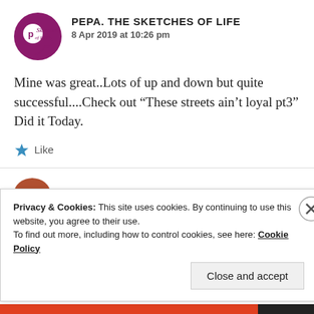[Figure (logo): Circular purple logo with stylized text 'Pepa Sketches of Life']
PEPA. THE SKETCHES OF LIFE
8 Apr 2019 at 10:26 pm
Mine was great..Lots of up and down but quite successful....Check out “These streets ain’t loyal pt3” Did it Today.
★ Like
Privacy & Cookies: This site uses cookies. By continuing to use this website, you agree to their use.
To find out more, including how to control cookies, see here: Cookie Policy
Close and accept